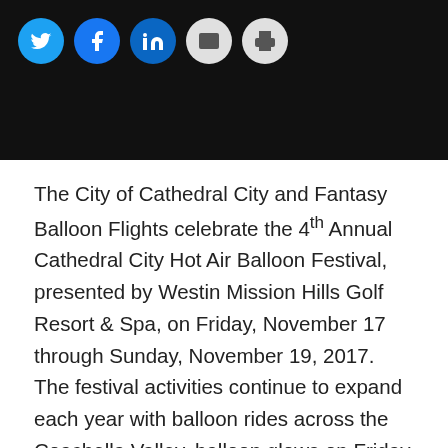[Figure (photo): Dark photo banner at the top of the page showing a nighttime scene]
[Figure (other): Social media sharing icons: Twitter, Facebook, LinkedIn, Email, Print]
The City of Cathedral City and Fantasy Balloon Flights celebrate the 4th Annual Cathedral City Hot Air Balloon Festival, presented by Westin Mission Hills Golf Resort & Spa, on Friday, November 17 through Sunday, November 19, 2017.  The festival activities continue to expand each year with balloon rides across the Coachella Valley, balloon glows on Friday and Saturday nights, balloon dinners prepared by the chefs at Westin Mission Hills and Wally's Desert Turtle, a brand new Saturday night Firework Finale courtesy of Sunniva, Inc., and Schoeppner Shows' carnival